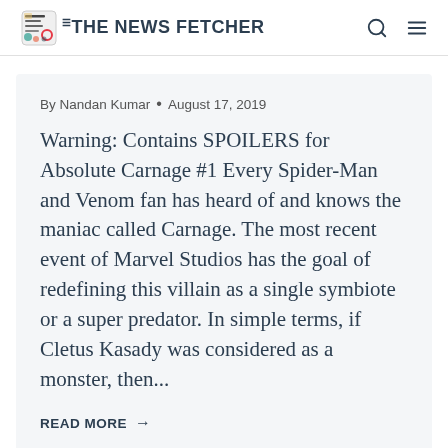THE NEWS FETCHER
By Nandan Kumar • August 17, 2019
Warning: Contains SPOILERS for Absolute Carnage #1 Every Spider-Man and Venom fan has heard of and knows the maniac called Carnage. The most recent event of Marvel Studios has the goal of redefining this villain as a single symbiote or a super predator. In simple terms, if Cletus Kasady was considered as a monster, then...
READ MORE →